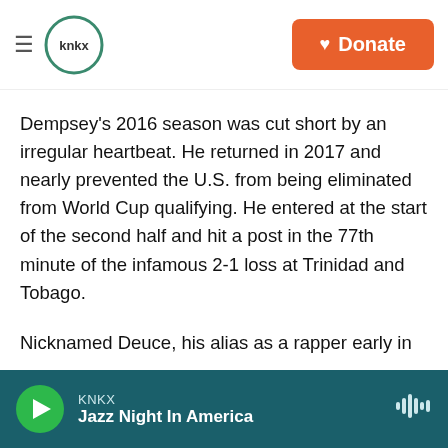KNKX — Donate
Dempsey's 2016 season was cut short by an irregular heartbeat. He returned in 2017 and nearly prevented the U.S. from being eliminated from World Cup qualifying. He entered at the start of the second half and hit a post in the 77th minute of the infamous 2-1 loss at Trinidad and Tobago.
Nicknamed Deuce, his alias as a rapper early in his career and his jersey number with Seattle, Dempsey provided a fiery edge. He was dropped from the U.S. roster for a World Cup prep match at Germany in 2006 after the Revolution suspended
KNKX — Jazz Night In America